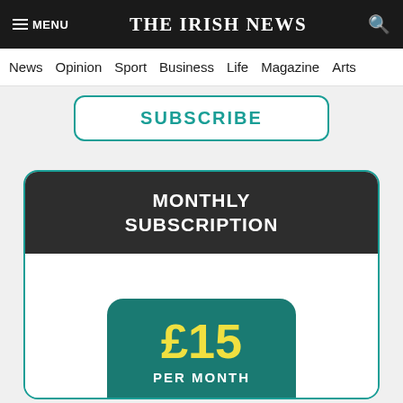THE IRISH NEWS
News  Opinion  Sport  Business  Life  Magazine  Arts
SUBSCRIBE
MONTHLY SUBSCRIPTION
£15 PER MONTH